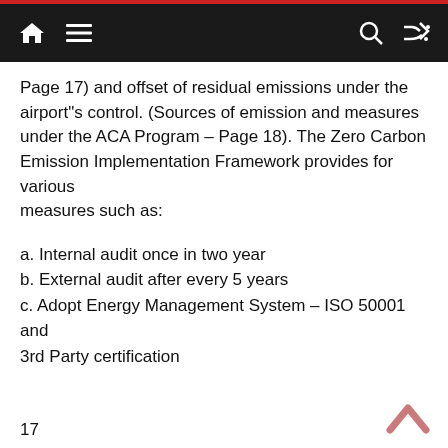Navigation bar with home, menu, search, and shuffle icons
Page 17) and offset of residual emissions under the airport"s control. (Sources of emission and measures under the ACA Program – Page 18). The Zero Carbon Emission Implementation Framework provides for various measures such as:
a. Internal audit once in two year
b. External audit after every 5 years
c. Adopt Energy Management System – ISO 50001 and 3rd Party certification
17